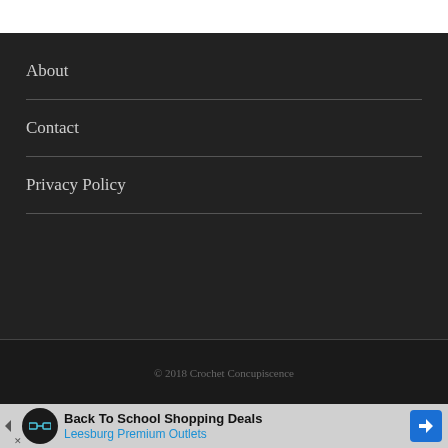About
Contact
Privacy Policy
© 2018 Crochet Concupiscence
Back To School Shopping Deals
Leesburg Premium Outlets